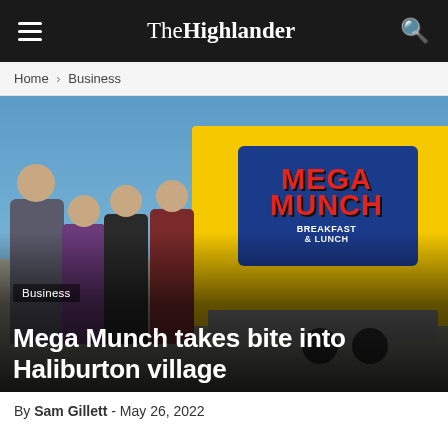The Highlander
Home › Business
[Figure (photo): Four people standing in front of a yellow food trailer with 'MEGA MUNCH Breakfast & Lunch' branding on it, photographed outdoors on a sunny day.]
Business
Mega Munch takes bite into Haliburton village
By Sam Gillett - May 26, 2022